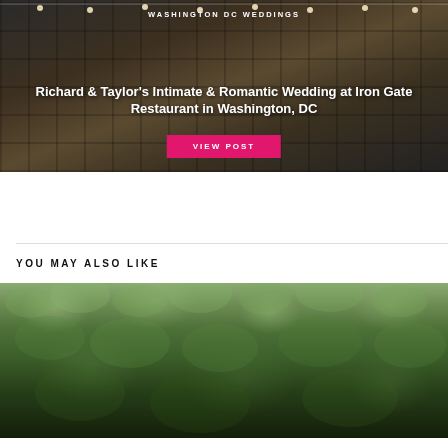[Figure (photo): Wedding photo at Iron Gate Restaurant in Washington DC showing couple in front of ornate iron gate with string lights, overlaid with text and pink button]
WASHINGTON DC WEDDINGS
Richard & Taylor's Intimate & Romantic Wedding at Iron Gate Restaurant in Washington, DC
VIEW POST
YOU MAY ALSO LIKE
[Figure (photo): Outdoor photo showing lush green foliage and trees, likely a wedding venue exterior]